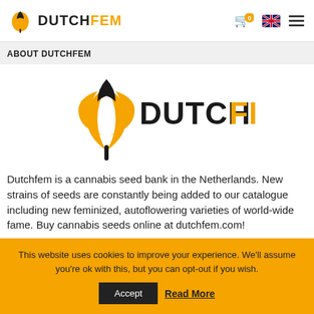DUTCHFEM
ABOUT DUTCHFEM
[Figure (logo): DutchFem logo with orange tulip/leaf icon and DUTCHFEM text (DUTCH in dark, FEM in orange)]
Dutchfem is a cannabis seed bank in the Netherlands. New strains of seeds are constantly being added to our catalogue including new feminized, autoflowering varieties of world-wide fame. Buy cannabis seeds online at dutchfem.com!
[Figure (infographic): Row of social media icons: Tumblr (dark blue), Facebook (dark blue), Twitter (light blue), YouTube (red), Instagram (purple), Pinterest (dark red)]
This website uses cookies to improve your experience. We'll assume you're ok with this, but you can opt-out if you wish.